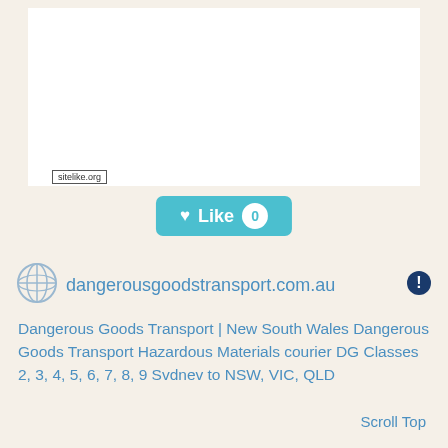[Figure (screenshot): White advertisement area at top of page with sitelike.org label]
[Figure (other): Teal Like button with heart icon and count badge showing 0]
dangerousgoodstransport.com.au
Dangerous Goods Transport | New South Wales Dangerous Goods Transport Hazardous Materials courier DG Classes 2, 3, 4, 5, 6, 7, 8, 9 Svdnev to NSW, VIC, QLD
Scroll Top
Semrush Rank: 5,434,960
Website Worth: $ 100
Categories: Business, Business